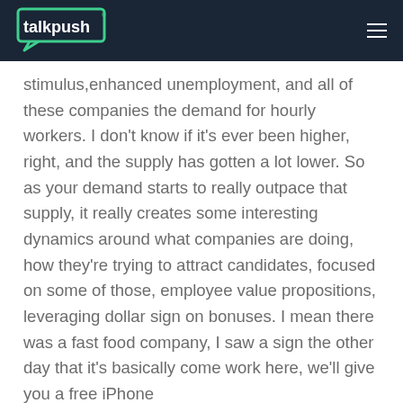talkpush
stimulus,enhanced unemployment, and all of these companies the demand for hourly workers. I don't know if it's ever been higher, right, and the supply has gotten a lot lower. So as your demand starts to really outpace that supply, it really creates some interesting dynamics around what companies are doing, how they're trying to attract candidates, focused on some of those, employee value propositions, leveraging dollar sign on bonuses. I mean there was a fast food company, I saw a sign the other day that it's basically come work here, we'll give you a free iPhone